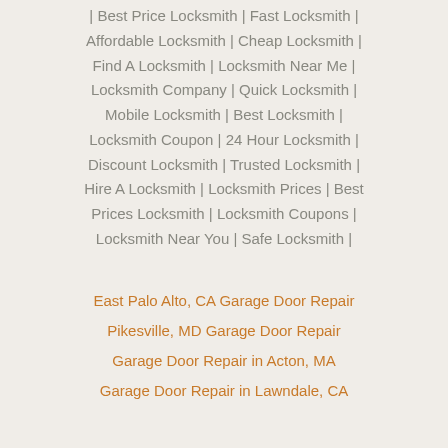| Best Price Locksmith | Fast Locksmith | Affordable Locksmith | Cheap Locksmith | Find A Locksmith | Locksmith Near Me | Locksmith Company | Quick Locksmith | Mobile Locksmith | Best Locksmith | Locksmith Coupon | 24 Hour Locksmith | Discount Locksmith | Trusted Locksmith | Hire A Locksmith | Locksmith Prices | Best Prices Locksmith | Locksmith Coupons | Locksmith Near You | Safe Locksmith |
East Palo Alto, CA Garage Door Repair
Pikesville, MD Garage Door Repair
Garage Door Repair in Acton, MA
Garage Door Repair in Lawndale, CA